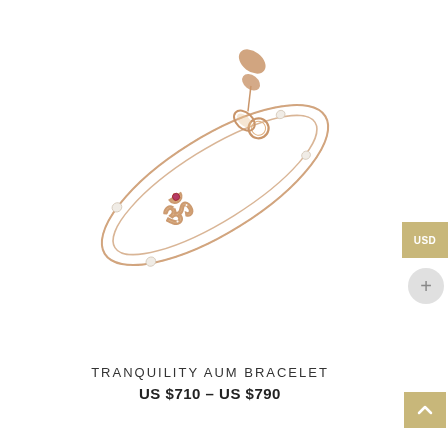[Figure (photo): Rose gold chain bracelet with Om/Aum symbol charm set with diamonds and a ruby, with pearl accents along the chain and a lobster clasp closure. The bracelet is photographed diagonally on a white background.]
TRANQUILITY AUM BRACELET
US $710 – US $790